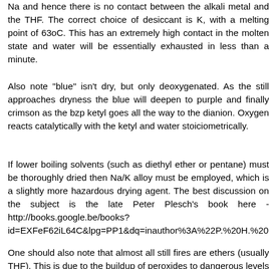Na and hence there is no contact between the alkali metal and the THF. The correct choice of desiccant is K, with a melting point of 63oC. This has an extremely high contact in the molten state and water will be essentially exhausted in less than a minute.
Also note "blue" isn't dry, but only deoxygenated. As the still approaches dryness the blue will deepen to purple and finally crimson as the bzp ketyl goes all the way to the dianion. Oxygen reacts catalytically with the ketyl and water stoiciometrically.
If lower boiling solvents (such as diethyl ether or pentane) must be thoroughly dried then Na/K alloy must be employed, which is a slightly more hazardous drying agent. The best discussion on the subject is the late Peter Plesch's book here - http://books.google.be/books?id=EXFeF62iL64C&lpg=PP1&dq=inauthor%3A%22P.%20H.%20Plesch%22&pg=PA116#v=onepage&q&f=false
One should also note that almost all still fires are ethers (usually THF). This is due to the buildup of peroxides to dangerous levels because the still has been left too long. A